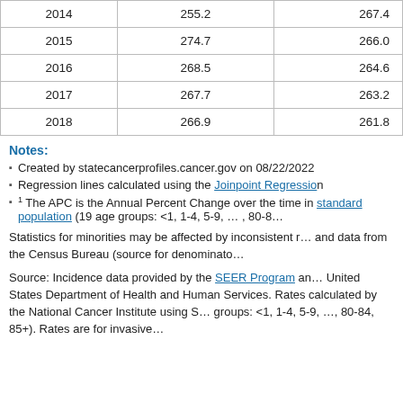| 2014 | 255.2 | 267.4 |
| 2015 | 274.7 | 266.0 |
| 2016 | 268.5 | 264.6 |
| 2017 | 267.7 | 263.2 |
| 2018 | 266.9 | 261.8 |
Notes:
Created by statecancerprofiles.cancer.gov on 08/22/2022
Regression lines calculated using the Joinpoint Regression Program
1 The APC is the Annual Percent Change over the time interval. Rates are age-adjusted to the standard population (19 age groups: <1, 1-4, 5-9, ... , 80-8...
Statistics for minorities may be affected by inconsistent race classification and data from the Census Bureau (source for denominator...
Source: Incidence data provided by the SEER Program and the United States Department of Health and Human Services. Rates calculated by the National Cancer Institute using S... groups: <1, 1-4, 5-9, ..., 80-84, 85+). Rates are for invasive...